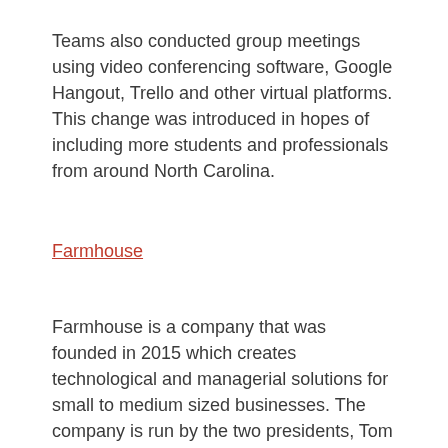Teams also conducted group meetings using video conferencing software, Google Hangout, Trello and other virtual platforms. This change was introduced in hopes of including more students and professionals from around North Carolina.
Farmhouse
Farmhouse is a company that was founded in 2015 which creates technological and managerial solutions for small to medium sized businesses. The company is run by the two presidents, Tom and Pete, who work to create software solutions and development for their clients. The company prides itself on creating unique solutions for their clients and being thorough. At the start of their time with the B Corp Clinic, Tom and Pete wanted to become a certified B Corp but, more